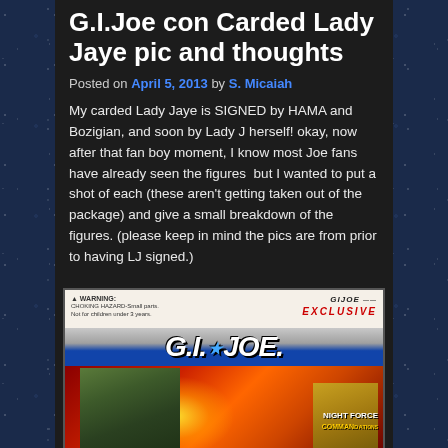G.I.Joe con Carded Lady Jaye pic and thoughts
Posted on April 5, 2013 by S. Micaiah
My carded Lady Jaye is SIGNED by HAMA and Bozigian, and soon by Lady J herself! okay, now after that fan boy moment, I know most Joe fans have already seen the figures  but I wanted to put a shot of each (these aren't getting taken out of the package) and give a small breakdown of the figures. (please keep in mind the pics are from prior to having LJ signed.)
[Figure (photo): Photo of a carded G.I. Joe action figure package featuring Lady Jaye, showing the G.I. JOE logo, artwork of the character, and 'NIGHT FORCE' branding. This appears to be a G.I.Joe convention exclusive item.]